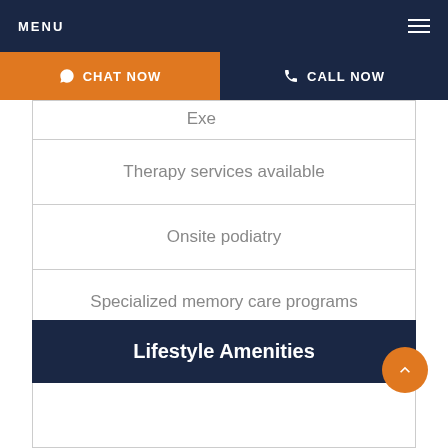MENU
CHAT NOW
CALL NOW
Exe...
Therapy services available
Onsite podiatry
Specialized memory care programs
Lifestyle Amenities